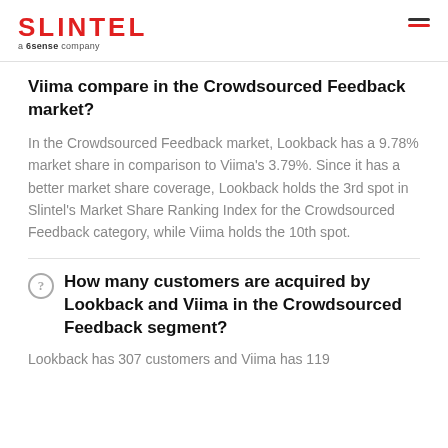SLINTEL a 6sense company
Viima compare in the Crowdsourced Feedback market?
In the Crowdsourced Feedback market, Lookback has a 9.78% market share in comparison to Viima's 3.79%. Since it has a better market share coverage, Lookback holds the 3rd spot in Slintel's Market Share Ranking Index for the Crowdsourced Feedback category, while Viima holds the 10th spot.
How many customers are acquired by Lookback and Viima in the Crowdsourced Feedback segment?
Lookback has 307 customers and Viima has 119